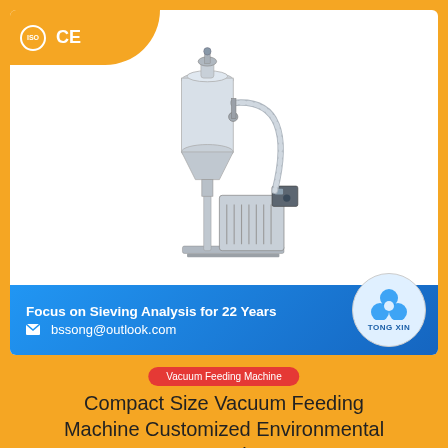[Figure (photo): Stainless steel compact vacuum feeding machine with cylindrical hopper, flexible hose, and base unit with motor. ISO and CE certification badges in top-left corner. Blue banner at bottom with slogan and email. Tong Xin brand logo circle on right.]
Focus on Sieving Analysis for 22 Years
bssong@outlook.com
Tong Xin
Vacuum Feeding Machine
Compact Size Vacuum Feeding Machine Customized Environmental Protection